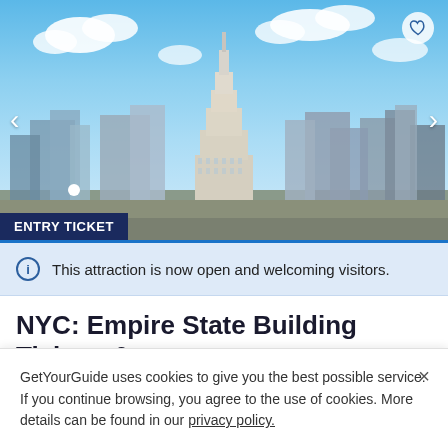[Figure (photo): NYC skyline featuring the Empire State Building under a blue sky with white clouds. The Empire State Building towers prominently in the center. Carousel navigation arrows on left and right. Heart/favorite icon top-right. White dot indicator and 'ENTRY TICKET' badge at bottom-left of image.]
This attraction is now open and welcoming visitors.
NYC: Empire State Building Tickets &
GetYourGuide uses cookies to give you the best possible service. If you continue browsing, you agree to the use of cookies. More details can be found in our privacy policy.